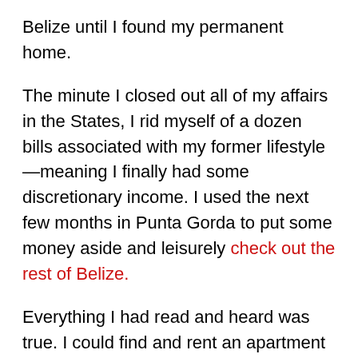Belize until I found my permanent home.
The minute I closed out all of my affairs in the States, I rid myself of a dozen bills associated with my former lifestyle—meaning I finally had some discretionary income. I used the next few months in Punta Gorda to put some money aside and leisurely check out the rest of Belize.
Everything I had read and heard was true. I could find and rent an apartment easily for about US$400 a month pretty much anywhere in the country. I saw plenty of options in that price range in plenty of towns around Belize—some of them beachfront, right on the Caribbean coast.
After several months, I decided on coastal Corozal town as the place I wanted to settle long-